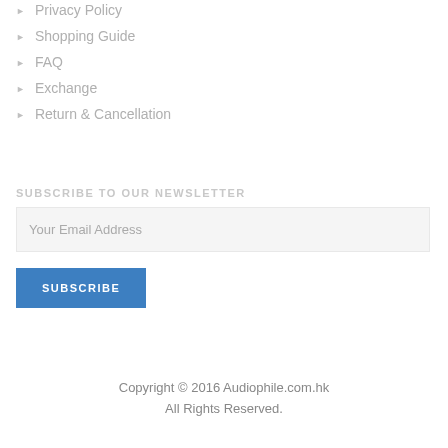Privacy Policy
Shopping Guide
FAQ
Exchange
Return & Cancellation
SUBSCRIBE TO OUR NEWSLETTER
Your Email Address
SUBSCRIBE
Copyright © 2016 Audiophile.com.hk All Rights Reserved.